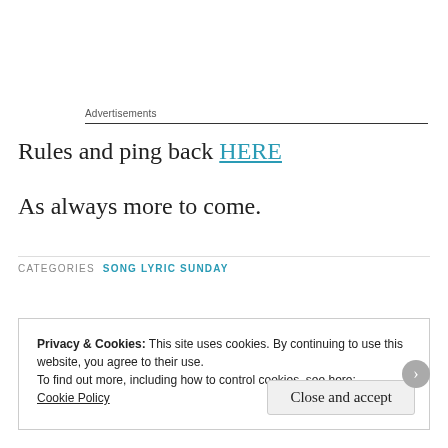Advertisements
Rules and ping back HERE
As always more to come.
CATEGORIES  SONG LYRIC SUNDAY
Privacy & Cookies: This site uses cookies. By continuing to use this website, you agree to their use.
To find out more, including how to control cookies, see here:
Cookie Policy
Close and accept